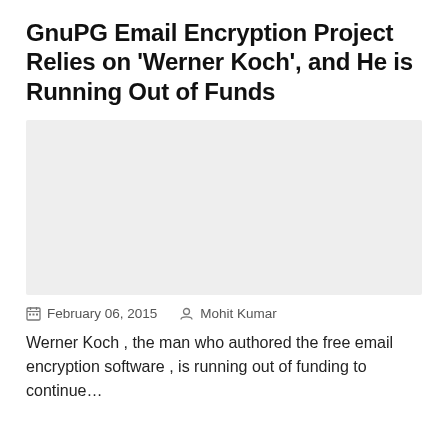GnuPG Email Encryption Project Relies on 'Werner Koch', and He is Running Out of Funds
[Figure (photo): Light gray placeholder image for article thumbnail]
February 06, 2015   Mohit Kumar
Werner Koch , the man who authored the free email encryption software , is running out of funding to continue…